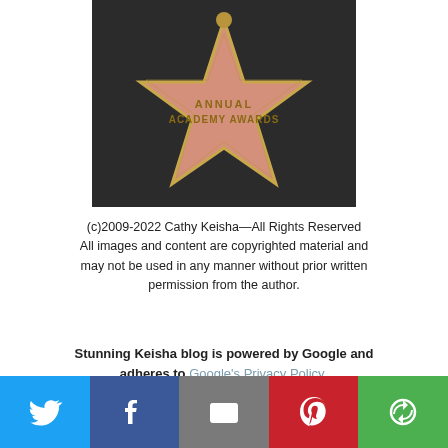[Figure (photo): Hollywood Walk of Fame star embedded in dark granite sidewalk, showing 'ANNUAL ACADEMY AWARDS' text on a pink star shape with gold border]
(c)2009-2022 Cathy Keisha—All Rights Reserved
All images and content are copyrighted material and may not be used in any manner without prior written permission from the author.
Stunning Keisha blog is powered by Google and adheres to Google's Privacy Policy.
LEGAL STUFF
All stunningkeisha.com text and images
[Figure (infographic): Social share bar with Twitter, Facebook, Email, Pinterest, and Other share buttons]